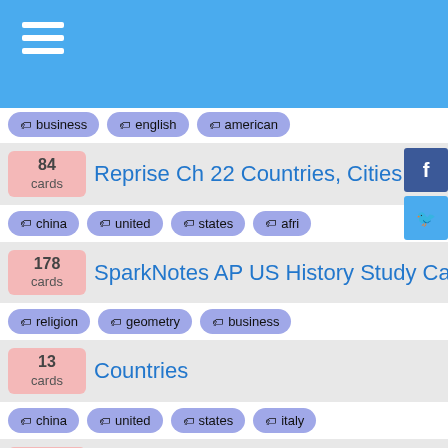Navigation header with hamburger menu
84 cards — Reprise Ch 22 Countries, Cities, and Isla... — tags: china, united, states, afri...
178 cards — SparkNotes AP US History Study Cards — tags: religion, geometry, business
13 cards — Countries — tags: china, united, states, italy
196 cards — Capitalele lumii — tags: spanish, africa, south, ch...
106 cards — final page — tags: spanish, religion, chemistry
66 cards — Indo vocab. Topic two. Silakan masuk da... — tags: english, home, china, fre...
113 cards — American History Final E...